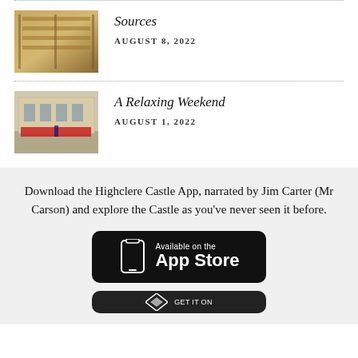[Figure (photo): Thumbnail photo of building with scaffolding or wooden beams, warm tones]
Sources
AUGUST 8, 2022
[Figure (photo): Thumbnail photo of people in red outfits standing in front of a grand building facade]
A Relaxing Weekend
AUGUST 1, 2022
Download the Highclere Castle App, narrated by Jim Carter (Mr Carson) and explore the Castle as you've never seen it before.
[Figure (logo): Available on the App Store badge (black rounded rectangle with phone icon)]
[Figure (logo): Google Play or second app store badge (dark, partially visible at bottom)]